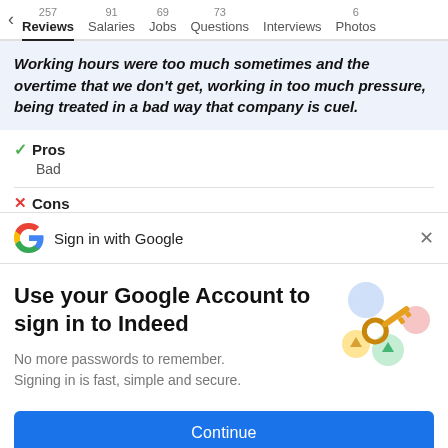257 Reviews  91 Salaries  69 Jobs  73 Questions  Interviews  6 Photos
Working hours were too much sometimes and the overtime that we don't get, working in too much pressure, being treated in a bad way that company is cuel.
Pros
Bad
Cons
Sign in with Google
Use your Google Account to sign in to Indeed
No more passwords to remember. Signing in is fast, simple and secure.
[Figure (illustration): Key and colorful circles illustration representing Google account sign-in]
Continue